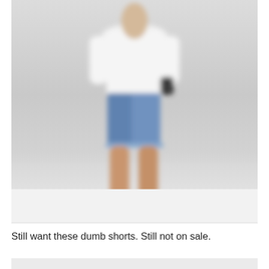[Figure (photo): A blurred photo of a person wearing a white top and denim blue shorts with brown shoes, standing against a light grey/white background. The image is cropped showing mainly torso and legs.]
Still want these dumb shorts. Still not on sale.